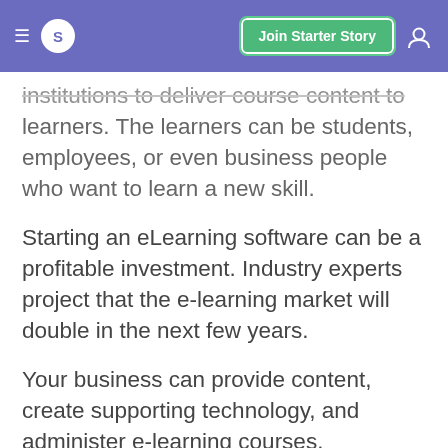S  Join Starter Story
institutions to deliver course content to learners. The learners can be students, employees, or even business people who want to learn a new skill.
Starting an eLearning software can be a profitable investment. Industry experts project that the e-learning market will double in the next few years.
Your business can provide content, create supporting technology, and administer e-learning courses.